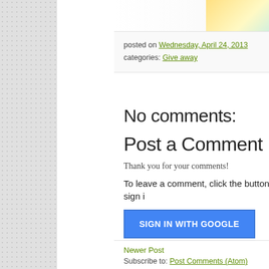[Figure (photo): Partial view of a blog post image/thumbnail in the top right corner, appears to be a food-related image with yellow background]
posted on Wednesday, April 24, 2013
categories: Give away
No comments:
Post a Comment
Thank you for your comments!
To leave a comment, click the button below to sign i
[Figure (screenshot): Blue SIGN IN WITH GOOGLE button]
Newer Post   Home
Subscribe to: Post Comments (Atom)